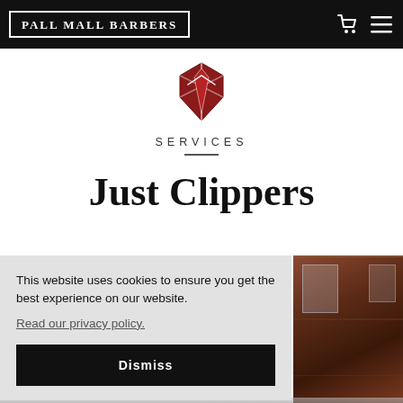Pall Mall Barbers
[Figure (logo): Pall Mall Barbers red and dark shield/arrow logo]
SERVICES
Just Clippers
This website uses cookies to ensure you get the best experience on our website.
Read our privacy policy.
Dismiss
[Figure (photo): Interior of a barber shop with dark wood paneling, mirrors, and barber chairs]